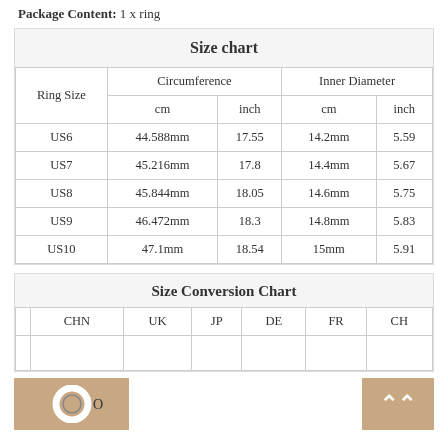Package Content: 1 x ring
| Ring Size | Circumference cm | Circumference inch | Inner Diameter cm | Inner Diameter inch |
| --- | --- | --- | --- | --- |
| US6 | 44.588mm | 17.55 | 14.2mm | 5.59 |
| US7 | 45.216mm | 17.8 | 14.4mm | 5.67 |
| US8 | 45.844mm | 18.05 | 14.6mm | 5.75 |
| US9 | 46.472mm | 18.3 | 14.8mm | 5.83 |
| US10 | 47.1mm | 18.54 | 15mm | 5.91 |
|  | CHN | UK | JP | DE | FR | CH |
| --- | --- | --- | --- | --- | --- | --- |